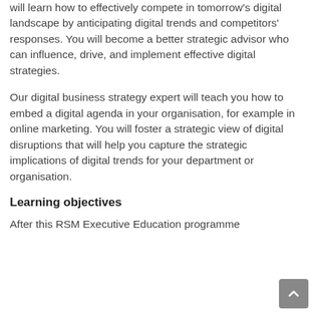will learn how to effectively compete in tomorrow's digital landscape by anticipating digital trends and competitors' responses. You will become a better strategic advisor who can influence, drive, and implement effective digital strategies.
Our digital business strategy expert will teach you how to embed a digital agenda in your organisation, for example in online marketing. You will foster a strategic view of digital disruptions that will help you capture the strategic implications of digital trends for your department or organisation.
Learning objectives
After this RSM Executive Education programme